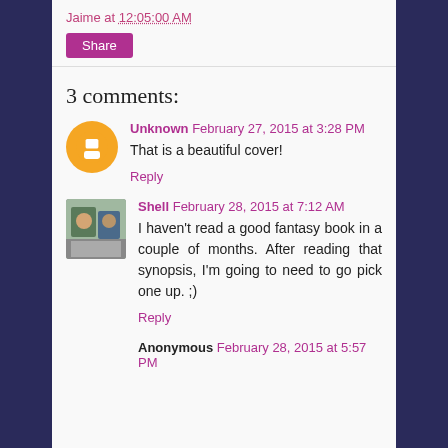Jaime at 12:05:00 AM
Share
3 comments:
Unknown  February 27, 2015 at 3:28 PM
That is a beautiful cover!
Reply
Shell  February 28, 2015 at 7:12 AM
I haven't read a good fantasy book in a couple of months. After reading that synopsis, I'm going to need to go pick one up. ;)
Reply
Anonymous  February 28, 2015 at 5:57 PM